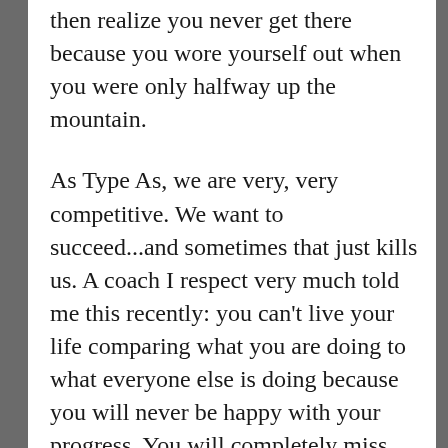then realize you never get there because you wore yourself out when you were only halfway up the mountain.
As Type As, we are very, very competitive. We want to succeed...and sometimes that just kills us. A coach I respect very much told me this recently: you can't live your life comparing what you are doing to what everyone else is doing because you will never be happy with your progress. You will completely miss out on your own success.
It stung a bit at the time when he said this, but it is so, so true.